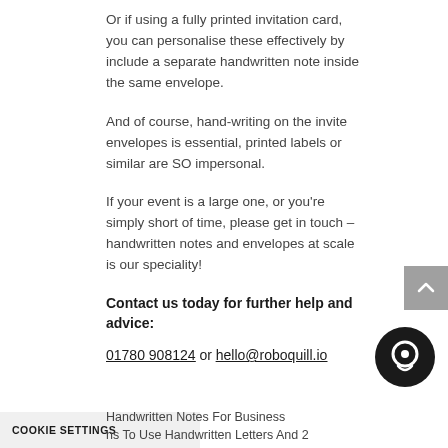Or if using a fully printed invitation card, you can personalise these effectively by include a separate handwritten note inside the same envelope.
And of course, hand-writing on the invite envelopes is essential, printed labels or similar are SO impersonal.
If your event is a large one, or you're simply short of time, please get in touch – handwritten notes and envelopes at scale is our speciality!
Contact us today for further help and advice:
01780 908124 or hello@roboquill.io
Handwritten Notes For Business
ons To Use Handwritten Letters And 2
COOKIE SETTINGS